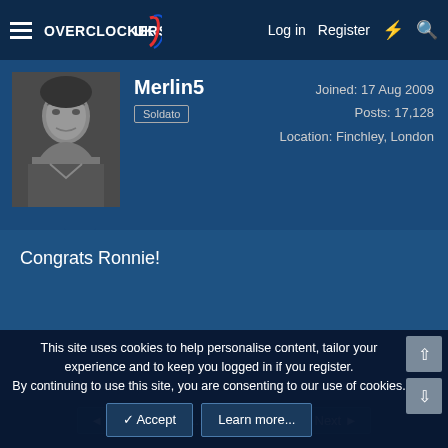Overclockers UK | Log in | Register
Merlin5
Soldato
Joined: 17 Aug 2009
Posts: 17,128
Location: Finchley, London
Congrats Ronnie!
◄ Prev  1  ...  12  13  Next ►
You must log in or register to reply here.
This site uses cookies to help personalise content, tailor your experience and to keep you logged in if you register.
By continuing to use this site, you are consenting to our use of cookies.
✓ Accept   Learn more...